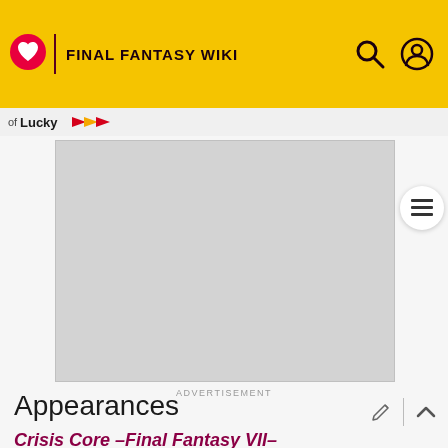FINAL FANTASY WIKI
of Lucky
[Figure (other): Advertisement placeholder — large grey rectangle with 'ADVERTISEMENT' label below]
Appearances
Crisis Core -Final Fantasy VII-